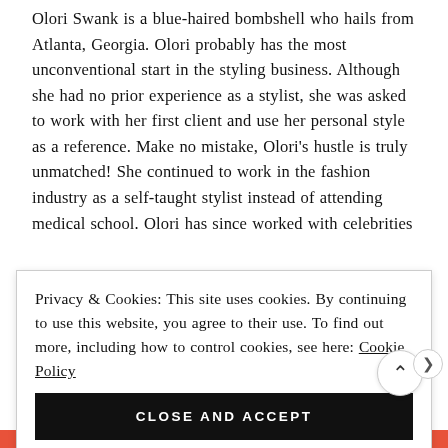Olori Swank is a blue-haired bombshell who hails from Atlanta, Georgia. Olori probably has the most unconventional start in the styling business. Although she had no prior experience as a stylist, she was asked to work with her first client and use her personal style as a reference. Make no mistake, Olori's hustle is truly unmatched! She continued to work in the fashion industry as a self-taught stylist instead of attending medical school. Olori has since worked with celebrities
Privacy & Cookies: This site uses cookies. By continuing to use this website, you agree to their use. To find out more, including how to control cookies, see here: Cookie Policy
CLOSE AND ACCEPT